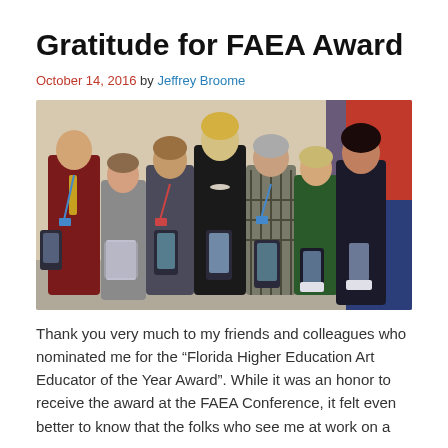Gratitude for FAEA Award
October 14, 2016 by Jeffrey Broome
[Figure (photo): Group photo of seven people holding crystal/glass awards, posing together in a room. Six women and one man. The man on the left wears a dark red shirt with a tie and lanyard. The women hold clear acrylic/glass award plaques. Background shows a beige wall and a colorful abstract artwork on the right side.]
Thank you very much to my friends and colleagues who nominated me for the “Florida Higher Education Art Educator of the Year Award”. While it was an honor to receive the award at the FAEA Conference, it felt even better to know that the folks who see me at work on a